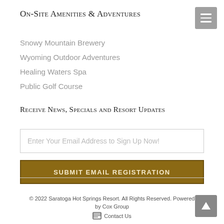On-Site Amenities & Adventures
Snowy Mountain Brewery
Wyoming Outdoor Adventures
Healing Waters Spa
Public Golf Course
Receive News, Specials and Resort Updates
Enter Your Email Address to Sign Up Now!
SUBMIT EMAIL REGISTRATION
© 2022 Saratoga Hot Springs Resort. All Rights Reserved. Powered by Cox Group
Contact Us